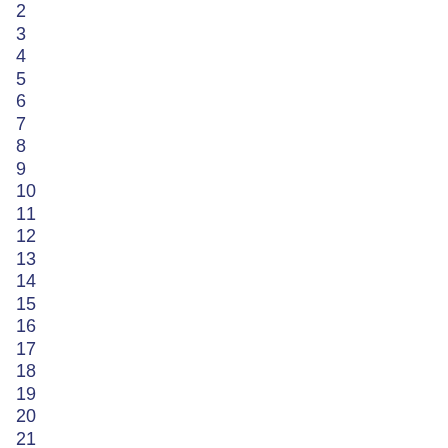2
3
4
5
6
7
8
9
10
11
12
13
14
15
16
17
18
19
20
21
22
23